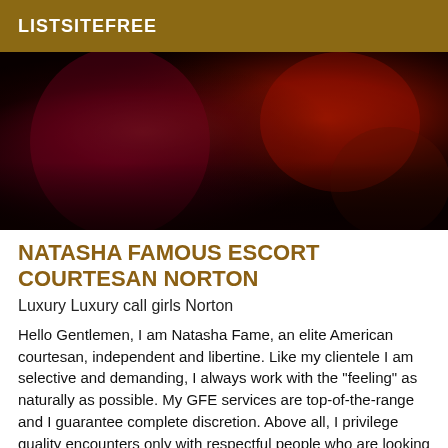LISTSITEFREE
[Figure (photo): Dark red-lit photo, abstract close-up of a person under dramatic red lighting against a dark background]
NATASHA FAMOUS ESCORT COURTESAN NORTON
Luxury Luxury call girls Norton
Hello Gentlemen, I am Natasha Fame, an elite American courtesan, independent and libertine. Like my clientele I am selective and demanding, I always work with the "feeling" as naturally as possible. My GFE services are top-of-the-range and I guarantee complete discretion. Above all, I privilege quality encounters only with respectful people who are looking for something a little